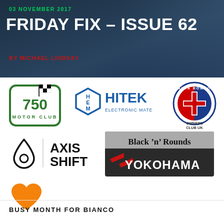03 NOVEMBER 2017
FRIDAY FIX – ISSUE 62
BY MICHAEL LINDSAY
[Figure (logo): 750 Motor Club logo - green bordered badge with checkered flag and '750 MOTOR CLUB' text]
[Figure (logo): HiTek Electronic Materials Ltd logo - blue hexagon H-E-M icon with blue HITEK text]
[Figure (logo): Alfa Romeo Owners Club UK logo - circular Alfa Romeo badge with red and white shield, Owners Club UK text]
[Figure (logo): Axis Shift logo - airbnb-style icon with vertical bar and AXIS SHIFT text]
[Figure (logo): Black n Rounds Yokohama logo - dark background with chevron Yokohama branding]
[Figure (logo): Orange heart icon]
BUSY MONTH FOR BIANCO